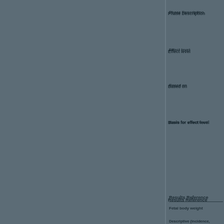Phase Description
Effect level
Based on
Basis for effect level
Results Reference
Fetal body weight
Descriptive (incidence, severity)
Reduction in number of offspring
Changes in sex ratio
Changes in litter size
Changes in post-implantation loss rate